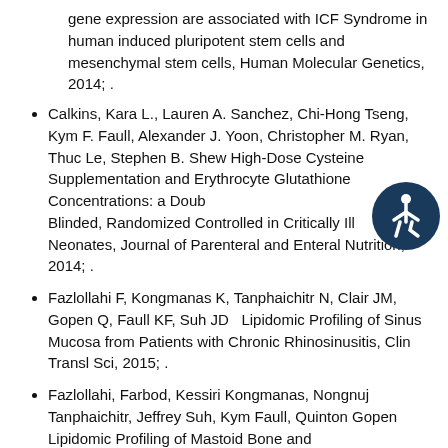gene expression are associated with ICF Syndrome in human induced pluripotent stem cells and mesenchymal stem cells, Human Molecular Genetics, 2014; .
Calkins, Kara L., Lauren A. Sanchez, Chi-Hong Tseng, Kym F. Faull, Alexander J. Yoon, Christopher M. Ryan, Thuc Le, Stephen B. Shew High-Dose Cysteine Supplementation and Erythrocyte Glutathione Concentrations: a Double Blinded, Randomized Controlled in Critically Ill Neonates, Journal of Parenteral and Enteral Nutrition, 2014; .
Fazlollahi F, Kongmanas K, Tanphaichitr N, Clair JM, Gopen Q, Faull KF, Suh JD   Lipidomic Profiling of Sinus Mucosa from Patients with Chronic Rhinosinusitis, Clin Transl Sci, 2015; .
Fazlollahi, Farbod, Kessiri Kongmanas, Nongnuj Tanphaichitr, Jeffrey Suh, Kym Faull, Quinton Gopen   Lipidomic Profiling of Mastoid Bone and